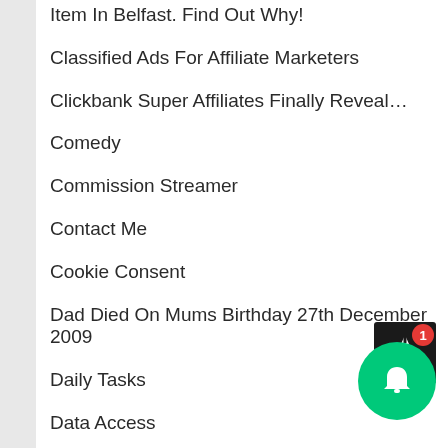Item In Belfast. Find Out Why!
Classified Ads For Affiliate Marketers
Clickbank Super Affiliates Finally Reveal…
Comedy
Commission Streamer
Contact Me
Cookie Consent
Dad Died On Mums Birthday 27th December 2009
Daily Tasks
Data Access